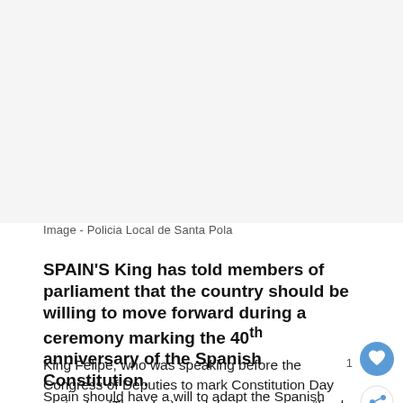Image - Policia Local de Santa Pola
SPAIN'S King has told members of parliament that the country should be willing to move forward during a ceremony marking the 40th anniversary of the Spanish Constitution.
King Felipe, who was speaking before the Congress of Deputies to mark Constitution Day yesterday (Thursday), said democracy was “firmly and fully” consolidated 40 years after its adoption.
Spain should have a will to adapt the Spanish way of life to the reality of each moment, the King added.